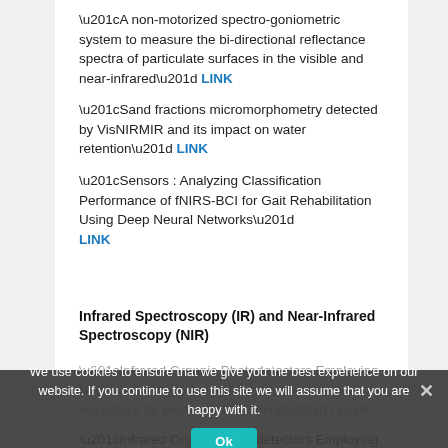“A non-motorized spectro-goniometric system to measure the bi-directional reflectance spectra of particulate surfaces in the visible and near-infrared” LINK
“Sand fractions micromorphometry detected by VisNIRMIR and its impact on water retention” LINK
“Sensors : Analyzing Classification Performance of fNIRS-BCI for Gait Rehabilitation Using Deep Neural Networks” LINK
Infrared Spectroscopy (IR) and Near-Infrared Spectroscopy (NIR)
“Infrared Organic Photodetectors Employing Ultralow Bandgap Polymer and Non-Fullerene Acceptors for Biometric Monitoring” | LINK
“Infrared Organic Photodetectors Employing Ultralow Bandgap Polymer and Non-Fullerene Acceptors for Biometric Monitoring” LINK
We use cookies to ensure that we give you the best experience on our website. If you continue to use this site we will assume that you are happy with it.